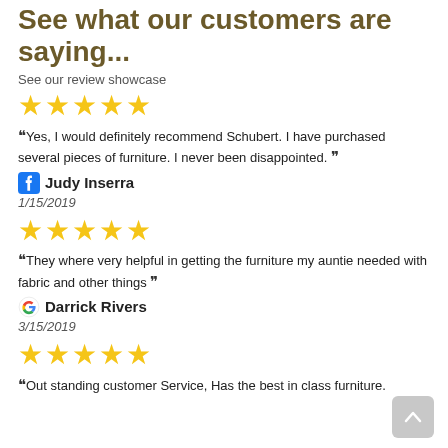See what our customers are saying...
See our review showcase
[Figure (other): Five gold star rating icons]
“Yes, I would definitely recommend Schubert. I have purchased several pieces of furniture. I never been disappointed.”
Judy Inserra
1/15/2019
[Figure (other): Five gold star rating icons]
“They where very helpful in getting the furniture my auntie needed with fabric and other things”
Darrick Rivers
3/15/2019
[Figure (other): Five gold star rating icons]
“Out standing customer Service, Has the best in class furniture.